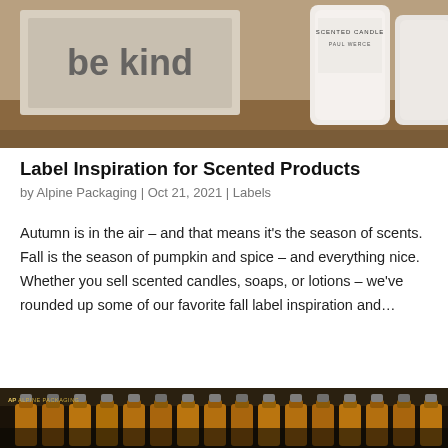[Figure (photo): Photograph of a 'be kind' sign and white scented candle jars on a wooden surface]
Label Inspiration for Scented Products
by Alpine Packaging | Oct 21, 2021 | Labels
Autumn is in the air – and that means it's the season of scents. Fall is the season of pumpkin and spice – and everything nice. Whether you sell scented candles, soaps, or lotions – we've rounded up some of our favorite fall label inspiration and…
[Figure (photo): Photograph of rows of amber glass perfume or oil bottles with gold caps on a dark shelf, with Alpine Packaging logo watermark]